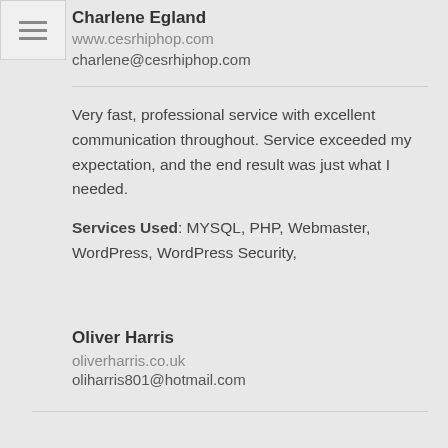Charlene Egland
www.cesrhiphop.com
charlene@cesrhiphop.com
Very fast, professional service with excellent communication throughout. Service exceeded my expectation, and the end result was just what I needed.
Services Used: MYSQL, PHP, Webmaster, WordPress, WordPress Security,
Oliver Harris
oliverharris.co.uk
oliharris801@hotmail.com